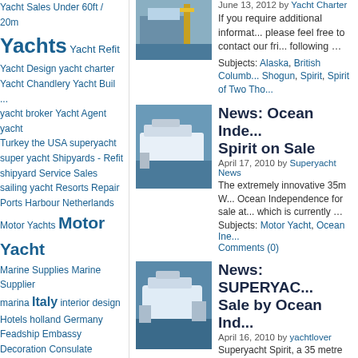Yacht Sales Under 60ft / 20m
Yachts Yacht Refit
Yacht Design yacht charter
Yacht Chandlery Yacht Buil ...
yacht broker Yacht Agent yacht
Turkey the USA superyacht
super yacht Shipyards - Refit
shipyard Service Sales
sailing yacht Resorts Repair
Ports Harbour Netherlands
Motor Yachts Motor Yacht
Marine Supplies Marine Supplier
marina Italy interior design
Hotels holland Germany
Feadship Embassy Decoration Consulate
Coastal Accommodation
Car Rental Boat
[Figure (photo): Yacht/boat near dock with crane, top article image]
June 13, 2012 by Yacht Charter
If you require additional informat... please feel free to contact our fri... following …
Subjects: Alaska, British Columb... Shogun, Spirit, Spirit of Two Tho...
[Figure (photo): White superyacht at sea, Ocean Independence Spirit on Sale article]
News: Ocean Inde... Spirit on Sale
April 17, 2010 by Superyacht News
The extremely innovative 35m W... Ocean Independence for sale at... which is currently …
Subjects: Motor Yacht, Ocean Ine... Comments (0)
[Figure (photo): White superyacht aerial view, SUPERYAC... Sale by Ocean Ind... article]
News: SUPERYAC... Sale by Ocean Ind...
April 16, 2010 by yachtlover
Superyacht Spirit, a 35 metre wa... sale through Ocean Independen... impressive and …
Subjects: for sale, Motor Yacht, N... 35, superyacht | Comments (0)
[Figure (photo): Partial yacht image at bottom, Yacht: Spirit article beginning]
Yacht: Spirit